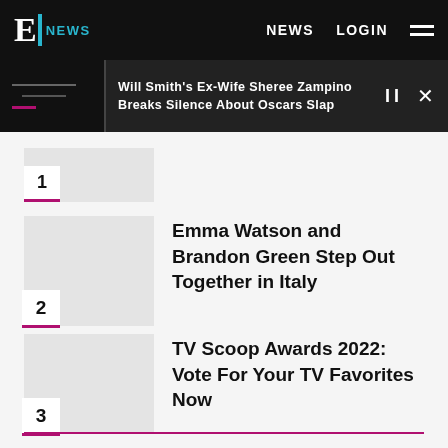E! NEWS — NEWS   LOGIN
Will Smith's Ex-Wife Sheree Zampino Breaks Silence About Oscars Slap
2 — Emma Watson and Brandon Green Step Out Together in Italy
3 — TV Scoop Awards 2022: Vote For Your TV Favorites Now